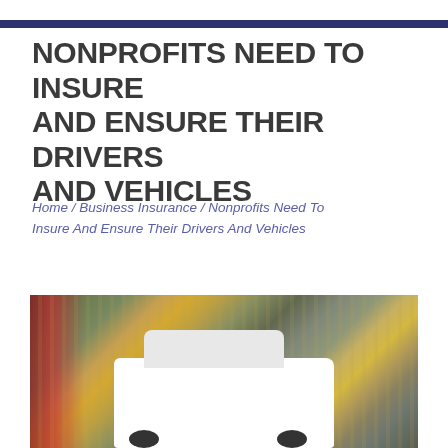NONPROFITS NEED TO INSURE AND ENSURE THEIR DRIVERS AND VEHICLES
Home / Business Insurance / Nonprofits Need To Insure And Ensure Their Drivers And Vehicles
[Figure (photo): A white van driving at speed with motion blur in the background, showing streaks of color from surrounding vehicles and environment]